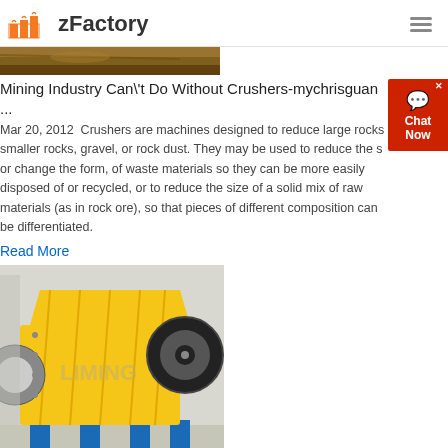zFactory
[Figure (photo): Top partial image of outdoor scene, brown/earth tones]
Mining Industry Can\'t Do Without Crushers-mychrisguan ...
Mar 20, 2012  Crushers are machines designed to reduce large rocks smaller rocks, gravel, or rock dust. They may be used to reduce the s or change the form, of waste materials so they can be more easily disposed of or recycled, or to reduce the size of a solid mix of raw materials (as in rock ore), so that pieces of different composition can be differentiated.
Read More
[Figure (photo): Yellow jaw crusher machine on blue stand in industrial warehouse setting with LIMING watermark]
lining material for cement crusher
cement lining for crusher prochoicelobbydayorglining material for cement crusher kurkumakapszulaeu. lining material for cement crusher